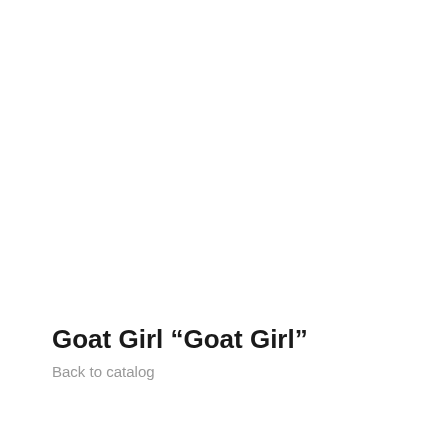Goat Girl "Goat Girl"
Back to catalog